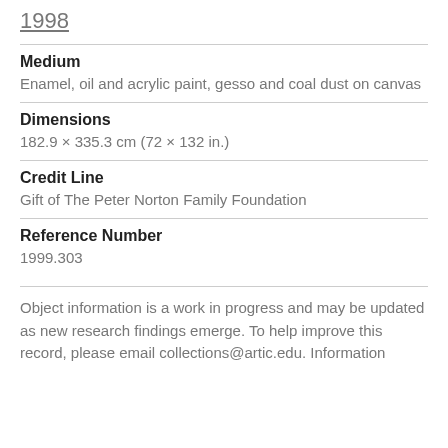1998
Medium
Enamel, oil and acrylic paint, gesso and coal dust on canvas
Dimensions
182.9 × 335.3 cm (72 × 132 in.)
Credit Line
Gift of The Peter Norton Family Foundation
Reference Number
1999.303
Object information is a work in progress and may be updated as new research findings emerge. To help improve this record, please email collections@artic.edu. Information